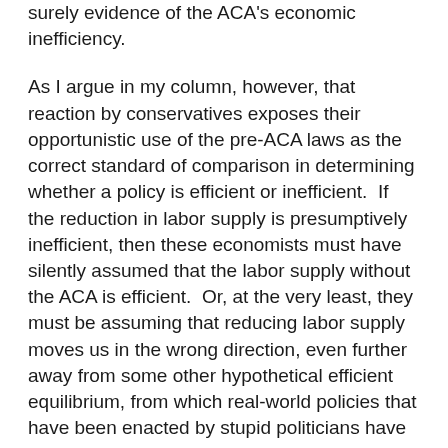surely evidence of the ACA's economic inefficiency.
As I argue in my column, however, that reaction by conservatives exposes their opportunistic use of the pre-ACA laws as the correct standard of comparison in determining whether a policy is efficient or inefficient.  If the reduction in labor supply is presumptively inefficient, then these economists must have silently assumed that the labor supply without the ACA is efficient.  Or, at the very least, they must be assuming that reducing labor supply moves us in the wrong direction, even further away from some other hypothetical efficient equilibrium, from which real-world policies that have been enacted by stupid politicians have already moved us.
At this point, however, we start pulling on the thread of what it means to have a hypothetical standard of comparison that represents the "no government intervention" world so dearly loved by conservatives.  If their argument is that people should not be able to rely on provisions of the ACA to retire -- and note that I am deliberately dropping the pretense that they are not really saying "should" and "should not" in their